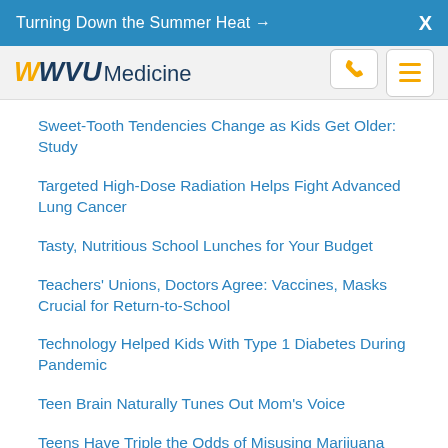Turning Down the Summer Heat →  X
WVU Medicine
Sweet-Tooth Tendencies Change as Kids Get Older: Study
Targeted High-Dose Radiation Helps Fight Advanced Lung Cancer
Tasty, Nutritious School Lunches for Your Budget
Teachers' Unions, Doctors Agree: Vaccines, Masks Crucial for Return-to-School
Technology Helped Kids With Type 1 Diabetes During Pandemic
Teen Brain Naturally Tunes Out Mom's Voice
Teens Have Triple the Odds of Misusing Marijuana Compared to Adults
Telehealth: Tips for Helping Kids With Autism Take Part
Ten Years On, Gene Therapy Still Beating Most Cases of 'Bubble